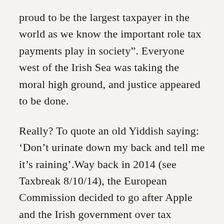proud to be the largest taxpayer in the world as we know the important role tax payments play in society". Everyone west of the Irish Sea was taking the moral high ground, and justice appeared to be done.
Really? To quote an old Yiddish saying: ‘Don’t urinate down my back and tell me it’s raining’.Way back in 2014 (see Taxbreak 8/10/14), the European Commission decided to go after Apple and the Irish government over tax rulings provided to the multinational that meant it paid an insignificant amount of tax in Ireland. As a central feature of its Celtic Tiger economic policy, Ireland had operated a low corporate tax rate for years (in the period in